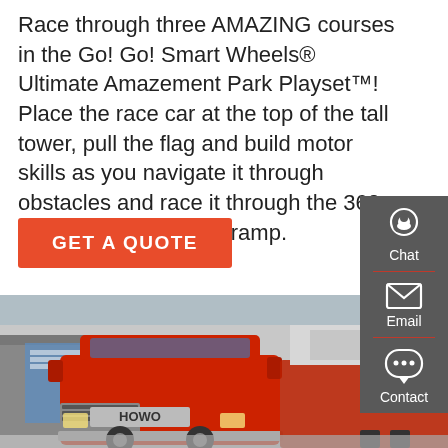Race through three AMAZING courses in the Go! Go! Smart Wheels® Ultimate Amazement Park Playset™! Place the race car at the top of the tall tower, pull the flag and build motor skills as you navigate it through obstacles and race it through the 360 degree loop, spiral or ramp.
GET A QUOTE
[Figure (other): Dark gray sidebar with chat, email, and contact icons and labels]
[Figure (photo): Photo of a red HOWO heavy truck parked in a logistics yard with industrial buildings in the background]